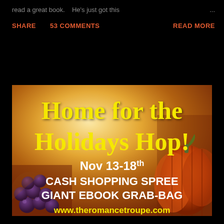read a great book.    He's just got this
...
SHARE    53 COMMENTS    READ MORE
[Figure (infographic): Home for the Holidays Hop promotional banner with autumn/harvest background featuring pumpkins and grapes. Yellow text reads 'Home for the Holidays Hop!' followed by white text 'Nov 13-18th CASH SHOPPING SPREE GIANT EBOOK GRAB-BAG' and yellow URL 'www.theromancetroupe.com']